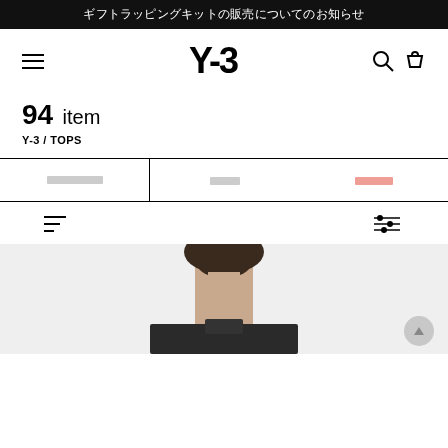ギフトラッピングキットの販売についてのお知らせ
[Figure (logo): Y-3 brand logo with hamburger menu on left and search/cart icons on right]
94 item
Y-3 / TOPS
おすすめ順　　新着順　　セール商品
[Figure (screenshot): Product listing page showing back of model's head/neck wearing a dark top on light gray background]